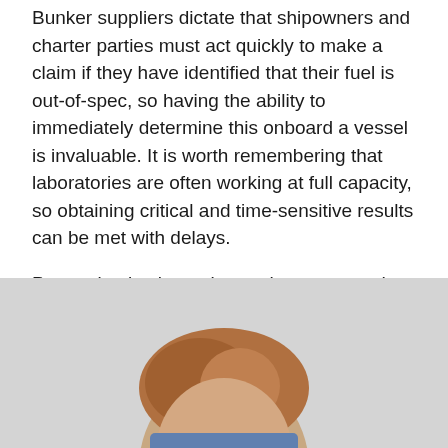Bunker suppliers dictate that shipowners and charter parties must act quickly to make a claim if they have identified that their fuel is out-of-spec, so having the ability to immediately determine this onboard a vessel is invaluable. It is worth remembering that laboratories are often working at full capacity, so obtaining critical and time-sensitive results can be met with delays.
Prevention is always better than cure, and the compact size of the FCS that provides real-time data onboard a vessel, is a useful tool in any condition monitoring regime.
[Figure (photo): Partial photograph of a person, cropped at bottom of page, showing top of head with reddish-brown hair, light background]